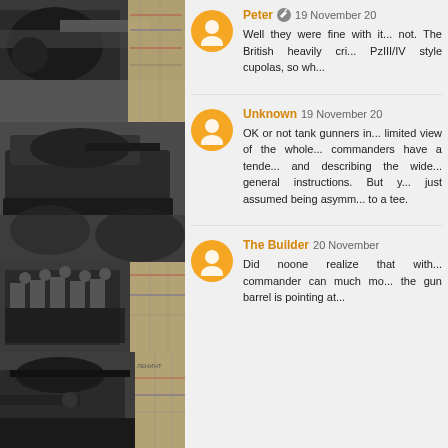[Figure (photo): Collage of WWII-era black-and-white tank photos with map backgrounds on left column]
Peter · 19 November 20
Well they were fine with it... not. The British heavily cri... PzIII/IV style cupolas, so wh...
Unknown 19 November 20
OK or not tank gunners in... limited view of the whole... commanders have a tende... and describing the wide... general instructions. But y... just assumed being asymm... to a tee.
The Builder 20 November
Did noone realize that with... commander can much mo... the gun barrel is pointing at...